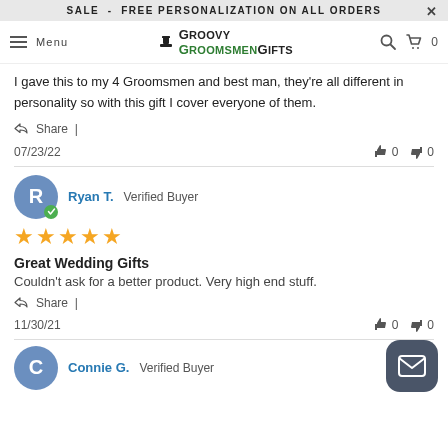SALE - FREE PERSONALIZATION ON ALL ORDERS
[Figure (logo): Groovy Groomsmen Gifts logo with top hat icon, navigation menu icon, search icon, and cart icon showing 0]
I gave this to my 4 Groomsmen and best man, they're all different in personality so with this gift I cover everyone of them.
Share |
07/23/22  👍 0  👎 0
Ryan T.  Verified Buyer  ★★★★★
Great Wedding Gifts
Couldn't ask for a better product. Very high end stuff.
Share |
11/30/21  👍 0  👎 0
Connie G.  Verified Buyer